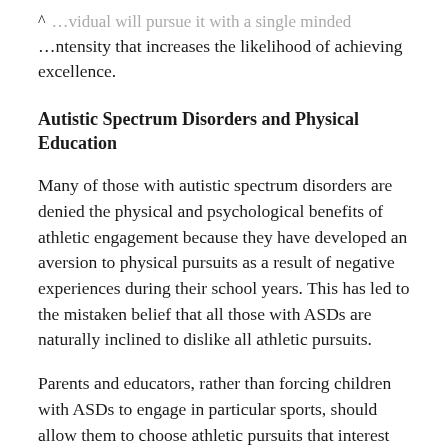…vidual will pursue it with a single minded intensity that increases the likelihood of achieving excellence.
Autistic Spectrum Disorders and Physical Education
Many of those with autistic spectrum disorders are denied the physical and psychological benefits of athletic engagement because they have developed an aversion to physical pursuits as a result of negative experiences during their school years. This has led to the mistaken belief that all those with ASDs are naturally inclined to dislike all athletic pursuits.
Parents and educators, rather than forcing children with ASDs to engage in particular sports, should allow them to choose athletic pursuits that interest them. Students with ASDs would be better served if…